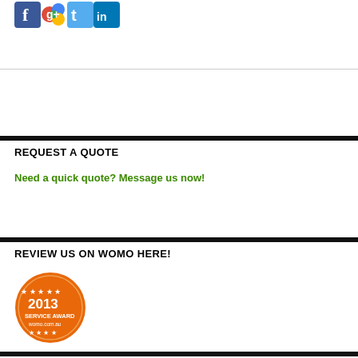[Figure (logo): Social media icons: Facebook, Google+, Twitter, LinkedIn]
REQUEST A QUOTE
Need a quick quote? Message us now!
REVIEW US ON WOMO HERE!
[Figure (logo): WOMO 2013 Service Award badge - orange circular badge with stars]